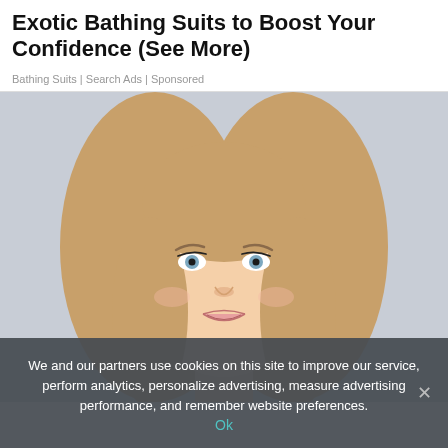Exotic Bathing Suits to Boost Your Confidence (See More)
Bathing Suits | Search Ads | Sponsored
[Figure (photo): Close-up portrait of a young blonde woman with blue eyes and a subtle smile, against a light gray background]
We and our partners use cookies on this site to improve our service, perform analytics, personalize advertising, measure advertising performance, and remember website preferences.
Ok